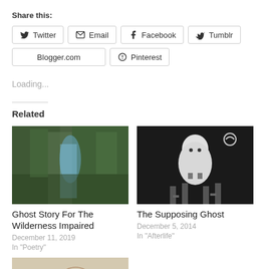Share this:
Twitter | Email | Facebook | Tumblr | Blogger.com | Pinterest
Loading...
Related
[Figure (photo): Forest/jungle scene with blue stream, green foliage]
Ghost Story For The Wilderness Impaired
December 11, 2019
In "Poetry"
[Figure (photo): Black and white photo of a ghost-like figure with crescent moon, dressed in white]
The Supposing Ghost
December 5, 2014
In "Afterlife"
[Figure (photo): Partial third image cut off at bottom of page]